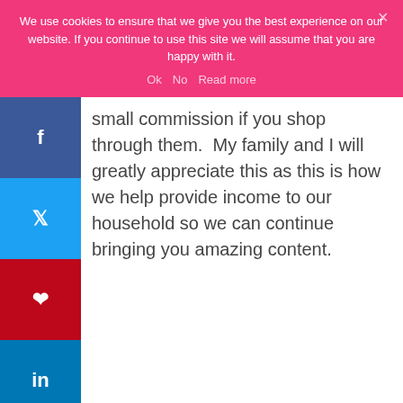We use cookies to ensure that we give you the best experience on our website. If you continue to use this site we will assume that you are happy with it.
Ok   No   Read more
small commission if you shop through them.  My family and I will greatly appreciate this as this is how we help provide income to our household so we can continue bringing you amazing content.
0 SHARES Shared to Street.